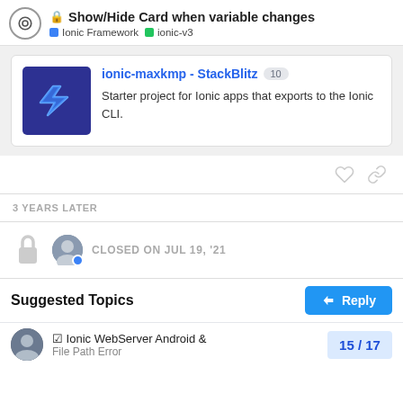Show/Hide Card when variable changes | Ionic Framework | ionic-v3
[Figure (screenshot): StackBlitz card preview for ionic-maxkmp project showing logo and description]
ionic-maxkmp - StackBlitz 10
Starter project for Ionic apps that exports to the Ionic CLI.
3 YEARS LATER
CLOSED ON JUL 19, '21
Suggested Topics
Ionic WebServer Android & File Path Error
15 / 17